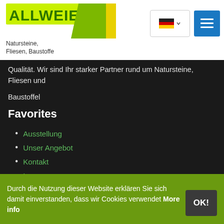[Figure (logo): Allweier logo with green text and yellow/green diagonal stripe, subtitle: Natursteine, Fliesen, Baustoffe]
Qualität. Wir sind Ihr starker Partner rund um Natursteine, Fliesen und Baustoffel
Favorites
Ausstellung
Unser Angebot
Kontakt
Impressum
[Figure (logo): Facebook icon square button]
Visit us on Facebook
Durch die Nutzung dieser Website erklären Sie sich damit einverstanden, dass wir Cookies verwendet More info